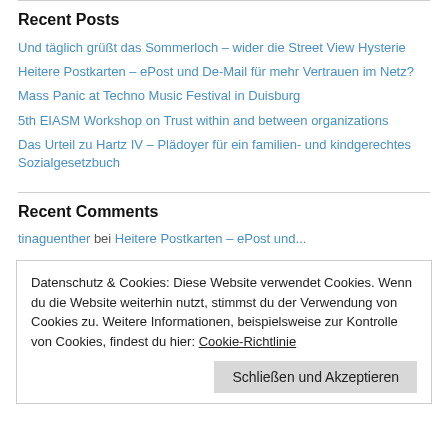Recent Posts
Und täglich grüßt das Sommerloch – wider die Street View Hysterie
Heitere Postkarten – ePost und De-Mail für mehr Vertrauen im Netz?
Mass Panic at Techno Music Festival in Duisburg
5th EIASM Workshop on Trust within and between organizations
Das Urteil zu Hartz IV – Plädoyer für ein familien- und kindgerechtes Sozialgesetzbuch
Recent Comments
tinaguenther bei Heitere Postkarten – ePost und...
Datenschutz & Cookies: Diese Website verwendet Cookies. Wenn du die Website weiterhin nutzt, stimmst du der Verwendung von Cookies zu. Weitere Informationen, beispielsweise zur Kontrolle von Cookies, findest du hier: Cookie-Richtlinie
Schließen und Akzeptieren